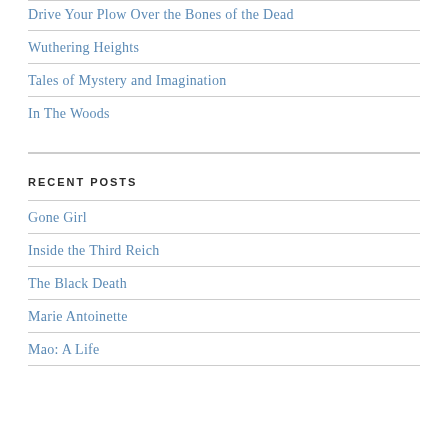Drive Your Plow Over the Bones of the Dead
Wuthering Heights
Tales of Mystery and Imagination
In The Woods
RECENT POSTS
Gone Girl
Inside the Third Reich
The Black Death
Marie Antoinette
Mao: A Life